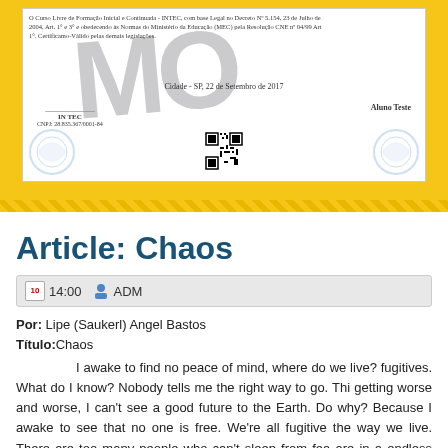[Figure (photo): Certificate banner in Portuguese from INTEC, dated 22 de Setembro de 2017, showing a watermark 'MO' in grey, decorative elements, a QR code, signatures for INTEC with CNPJ, and student name 'Aluno Teste'. Yellow border surrounds the certificate.]
Article: Chaos
14:00  ADM
Por: Lipe (Saukerl) Angel Bastos
Título: Chaos
I awake to find no peace of mind, where do we live? fugitives. What do I know? Nobody tells me the right way to go. This getting worse and worse, I can't see a good future to the Earth. Do why? Because I awake to see that no one is free. We're all fugitive the way we live. There are too many people who can't sleep from fea are in a endless war, where we have our battles day-by-day and become stronger and we pretend there's still a cure to this silly world.
   Such a rush to do nothing at all, such a fuss to get nowh People can't live with each other, there's no fair deal not even respect